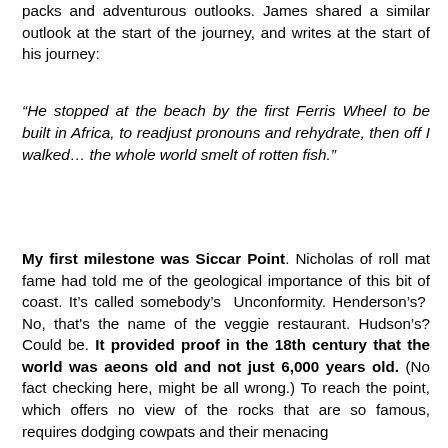packs and adventurous outlooks. James shared a similar outlook at the start of the journey, and writes at the start of his journey:
“He stopped at the beach by the first Ferris Wheel to be built in Africa, to readjust pronouns and rehydrate, then off I walked… the whole world smelt of rotten fish.”
My first milestone was Siccar Point. Nicholas of roll mat fame had told me of the geological importance of this bit of coast. It’s called somebody’s Unconformity. Henderson’s? No, that's the name of the veggie restaurant. Hudson’s? Could be. It provided proof in the 18th century that the world was aeons old and not just 6,000 years old. (No fact checking here, might be all wrong.) To reach the point, which offers no view of the rocks that are so famous, requires dodging cowpats and their menacing